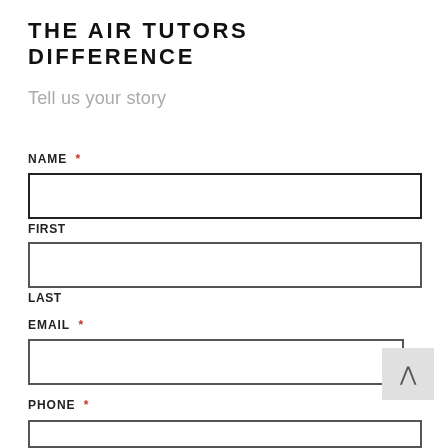THE AIR TUTORS DIFFERENCE
Tell us your story
NAME *
FIRST
LAST
EMAIL *
PHONE *